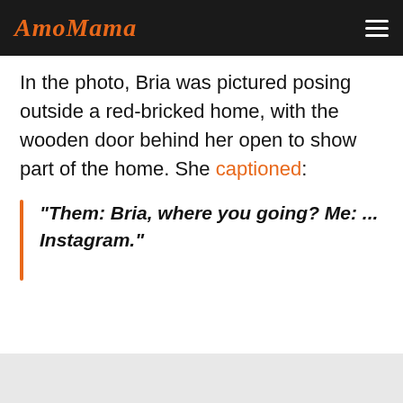AmoMama
In the photo, Bria was pictured posing outside a red-bricked home, with the wooden door behind her open to show part of the home. She captioned:
"Them: Bria, where you going? Me: ... Instagram."